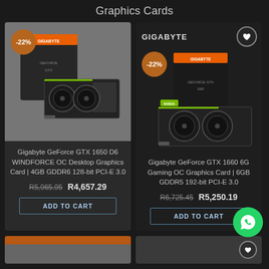Graphics Cards
[Figure (screenshot): Product card for Gigabyte GeForce GTX 1650 D6 WINDFORCE OC Desktop Graphics Card showing product photo with -22% discount badge on grey background]
Gigabyte GeForce GTX 1650 D6 WINDFORCE OC Desktop Graphics Card | 4GB GDDR6 128-bit PCI-E 3.0
R5,965.95  R4,657.29
ADD TO CART
[Figure (screenshot): Product card for Gigabyte GeForce GTX 1660 6G Gaming OC Graphics Card showing GIGABYTE brand header, product photo with -22% discount badge and NVIDIA GeForce badge on dark background]
GIGABYTE
Gigabyte GeForce GTX 1660 6G Gaming OC Graphics Card | 6GB GDDR5 192-bit PCI-E 3.0
R6,725.45  R5,250.19
ADD TO CART